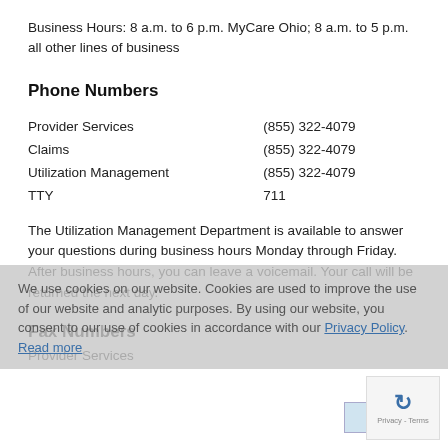Business Hours: 8 a.m. to 6 p.m. MyCare Ohio; 8 a.m. to 5 p.m. all other lines of business
Phone Numbers
| Service | Number |
| --- | --- |
| Provider Services | (855) 322-4079 |
| Claims | (855) 322-4079 |
| Utilization Management | (855) 322-4079 |
| TTY | 711 |
The Utilization Management Department is available to answer your questions during business hours Monday through Friday. After business hours, you can leave a voicemail. Your call will be returned the next day.
Fax Numbers
Provider Services